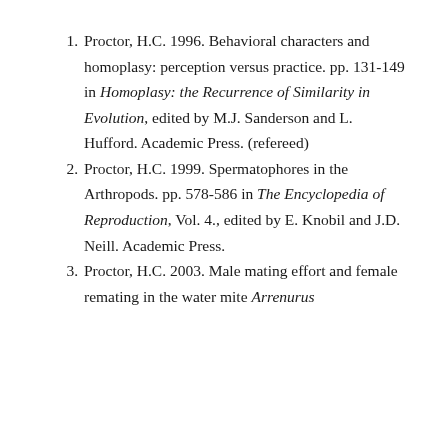Proctor, H.C. 1996. Behavioral characters and homoplasy: perception versus practice. pp. 131-149 in Homoplasy: the Recurrence of Similarity in Evolution, edited by M.J. Sanderson and L. Hufford. Academic Press. (refereed)
Proctor, H.C. 1999. Spermatophores in the Arthropods. pp. 578-586 in The Encyclopedia of Reproduction, Vol. 4., edited by E. Knobil and J.D. Neill. Academic Press.
Proctor, H.C. 2003. Male mating effort and female remating in the water mite Arrenurus